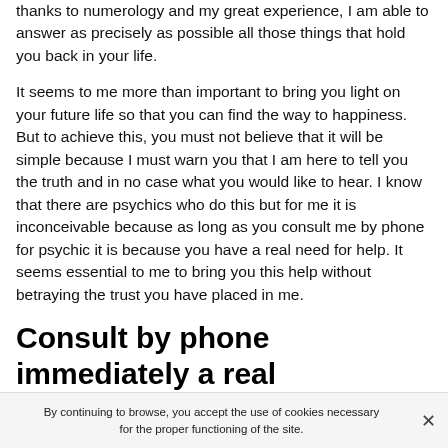thanks to numerology and my great experience, I am able to answer as precisely as possible all those things that hold you back in your life.
It seems to me more than important to bring you light on your future life so that you can find the way to happiness. But to achieve this, you must not believe that it will be simple because I must warn you that I am here to tell you the truth and in no case what you would like to hear. I know that there are psychics who do this but for me it is inconceivable because as long as you consult me by phone for psychic it is because you have a real need for help. It seems essential to me to bring you this help without betraying the trust you have placed in me.
Consult by phone immediately a real numerologist in Mission Viejo, CA cheap
By continuing to browse, you accept the use of cookies necessary for the proper functioning of the site.